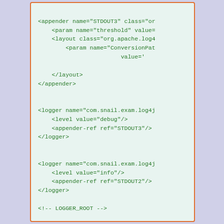<!-- STDOUT3 -->
<appender name="STDOUT3" class="or
    <param name="threshold" value=
    <layout class="org.apache.log4
        <param name="ConversionPat
                        value='
    </layout>
</appender>

<!-- LOGGER1 -->
<logger name="com.snail.exam.log4j
    <level value="debug"/>
    <appender-ref ref="STDOUT3"/>
</logger>

<!-- LOGGER2 -->
<logger name="com.snail.exam.log4j
    <level value="info"/>
    <appender-ref ref="STDOUT2"/>
</logger>

<!-- LOGGER_ROOT -->